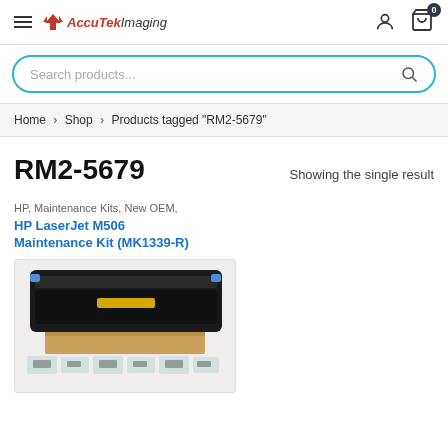AccuTek Imaging — navigation header with hamburger menu, user icon, and cart (0)
Search products...
Home > Shop > Products tagged "RM2-5679"
RM2-5679
Showing the single result
HP, Maintenance Kits, New OEM,
HP LaserJet M506 Maintenance Kit (MK1339-R)
[Figure (photo): HP LaserJet M506 Maintenance Kit product photo showing a fuser assembly (black roller unit) and small parts/hardware in plastic bags on a white background]